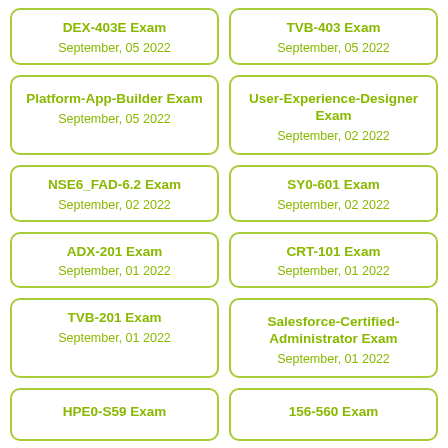DEX-403E Exam
September, 05 2022
TVB-403 Exam
September, 05 2022
Platform-App-Builder Exam
September, 05 2022
User-Experience-Designer Exam
September, 02 2022
NSE6_FAD-6.2 Exam
September, 02 2022
SY0-601 Exam
September, 02 2022
ADX-201 Exam
September, 01 2022
CRT-101 Exam
September, 01 2022
TVB-201 Exam
September, 01 2022
Salesforce-Certified-Administrator Exam
September, 01 2022
HPE0-S59 Exam
156-560 Exam